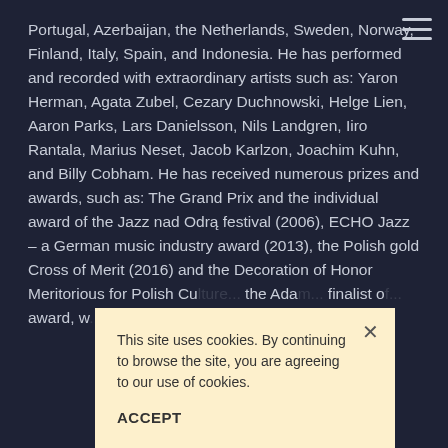Portugal, Azerbaijan, the Netherlands, Sweden, Norway, Finland, Italy, Spain, and Indonesia. He has performed and recorded with extraordinary artists such as: Yaron Herman, Agata Zubel, Cezary Duchnowski, Helge Lien, Aaron Parks, Lars Danielsson, Nils Landgren, Iiro Rantala, Marius Neset, Jacob Karlzon, Joachim Kuhn, and Billy Cobham. He has received numerous prizes and awards, such as: The Grand Prix and the individual award of the Jazz nad Odrą festival (2006), ECHO Jazz – a German music industry award (2013), the Polish gold Cross of Merit (2016) and the Decoration of Honor Meritorious for Polish Cu... the Ada... finalist o... award, w... January...
This site uses cookies. By continuing to browse the site, you are agreeing to our use of cookies.
ACCEPT